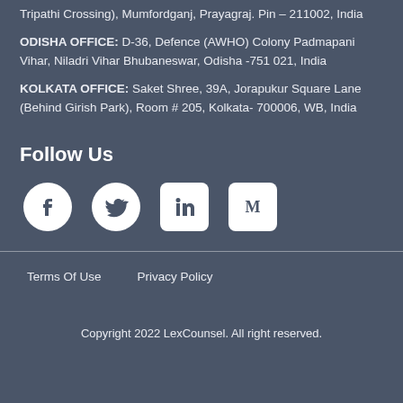Tripathi Crossing), Mumfordganj, Prayagraj. Pin - 211002, India
ODISHA OFFICE: D-36, Defence (AWHO) Colony Padmapani Vihar, Niladri Vihar Bhubaneswar, Odisha -751 021, India
KOLKATA OFFICE: Saket Shree, 39A, Jorapukur Square Lane (Behind Girish Park), Room # 205, Kolkata- 700006, WB, India
Follow Us
[Figure (infographic): Social media icons: Facebook (circle), Twitter (circle), LinkedIn (rounded square), Medium (rounded square)]
Terms Of Use   Privacy Policy
Copyright 2022 LexCounsel. All right reserved.